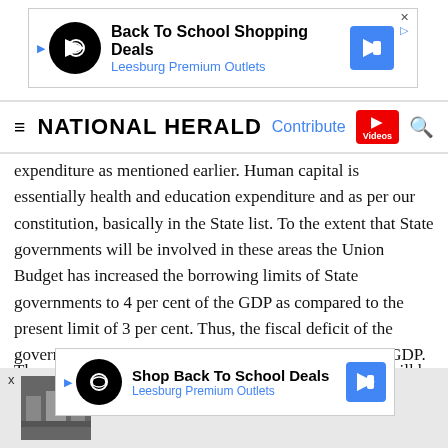[Figure (other): Advertisement banner for Back To School Shopping Deals – Leesburg Premium Outlets]
NATIONAL HERALD — Contribute | Videos | Search
expenditure as mentioned earlier. Human capital is essentially health and education expenditure and as per our constitution, basically in the State list. To the extent that State governments will be involved in these areas the Union Budget has increased the borrowing limits of State governments to 4 per cent of the GDP as compared to the present limit of 3 per cent. Thus, the fiscal deficit of the government (Centre plus States) is 10.8 per cent of the GDP.
[Figure (other): Advertisement – Shop Back To School Deals – Leesburg Premium Outlets]
[Figure (other): Promo bar – 'Make in India' before it became a slogan]